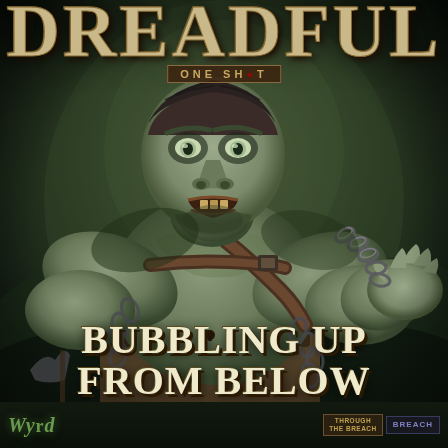Dreadful
ONE SHOT
[Figure (illustration): A large, monstrous humanoid creature with grey-green skin, wearing a leather harness/straps, holding heavy chains. The figure is menacing, reaching toward the viewer with one chained hand. Dark atmospheric background.]
BUBBLING UP FROM BELOW
[Figure (logo): Wyrd Games logo in green italic text at bottom left]
[Figure (logo): Publisher badges at bottom right: 'Through the Breach' and 'Breach' logos]